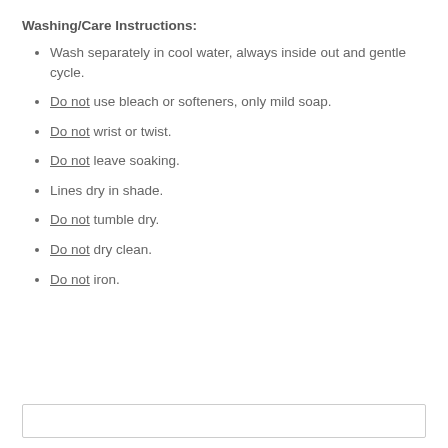Washing/Care Instructions:
Wash separately in cool water, always inside out and gentle cycle.
Do not use bleach or softeners, only mild soap.
Do not wrist or twist.
Do not leave soaking.
Lines dry in shade.
Do not tumble dry.
Do not dry clean.
Do not iron.